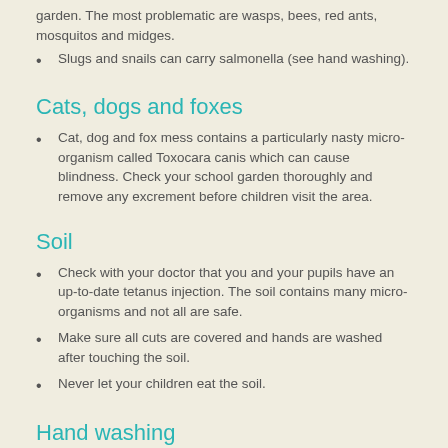garden. The most problematic are wasps, bees, red ants, mosquitos and midges.
Slugs and snails can carry salmonella (see hand washing).
Cats, dogs and foxes
Cat, dog and fox mess contains a particularly nasty micro-organism called Toxocara canis which can cause blindness. Check your school garden thoroughly and remove any excrement before children visit the area.
Soil
Check with your doctor that you and your pupils have an up-to-date tetanus injection. The soil contains many micro-organisms and not all are safe.
Make sure all cuts are covered and hands are washed after touching the soil.
Never let your children eat the soil.
Hand washing
Train all the children in your care to wash their hands thoroughly